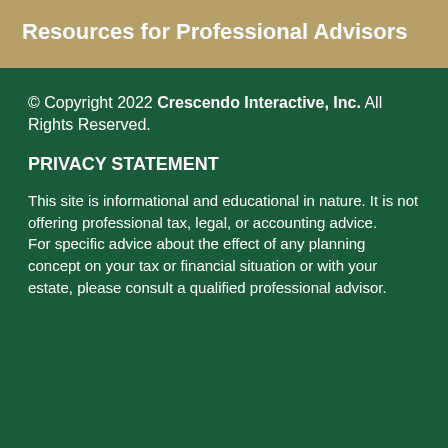Resources for Professional Advisors
© Copyright 2022 Crescendo Interactive, Inc. All Rights Reserved.
PRIVACY STATEMENT
This site is informational and educational in nature. It is not offering professional tax, legal, or accounting advice. For specific advice about the effect of any planning concept on your tax or financial situation or with your estate, please consult a qualified professional advisor.